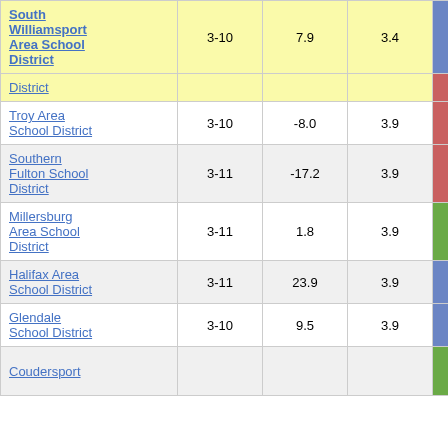| School District | Grades | Change | Avg Change | Score |
| --- | --- | --- | --- | --- |
| South Williamsport Area School District | 3-10 | 7.9 | 3.4 | 2.35 |
| District |  |  |  |  |
| Troy Area School District | 3-10 | -8.0 | 3.9 | -2.07 |
| Southern Fulton School District | 3-11 | -17.2 | 3.9 | -4.46 |
| Millersburg Area School District | 3-11 | 1.8 | 3.9 | 0.46 |
| Halifax Area School District | 3-11 | 23.9 | 3.9 | 6.19 |
| Glendale School District | 3-10 | 9.5 | 3.9 | 2.45 |
| Coudersport |  |  |  |  |